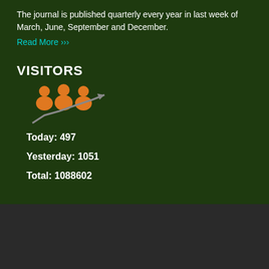The journal is published quarterly every year in last week of March, June, September and December.
Read More >>>
VISITORS
[Figure (illustration): Orange people/visitors icon with a rising graph arrow]
Today: 497
Yesterday: 1051
Total: 1088602
HOME  |  ABOUT JOURNAL  |  EDITORIAL BOARD  |  SITEMAP
Designed and Developed by: T-Labs Solutions